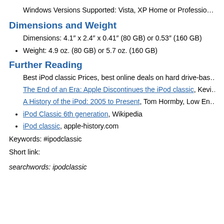Windows Versions Supported: Vista, XP Home or Professio…
Dimensions and Weight
Dimensions: 4.1″ x 2.4″ x 0.41″ (80 GB) or 0.53″ (160 GB)
Weight: 4.9 oz. (80 GB) or 5.7 oz. (160 GB)
Further Reading
Best iPod classic Prices, best online deals on hard drive-bas…
The End of an Era: Apple Discontinues the iPod classic, Kevi…
A History of the iPod: 2005 to Present, Tom Hormby, Low En…
iPod Classic 6th generation, Wikipedia
iPod classic, apple-history.com
Keywords: #ipodclassic
Short link:
searchwords: ipodclassic